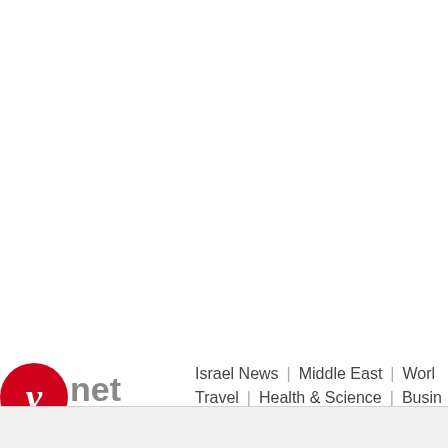[Figure (logo): Ynet News logo: red circle with white italic y, followed by grey 'net' text, and 'news.com' below with 'com' in red]
Israel News | Middle East | Worl
Travel | Health & Science | Busin